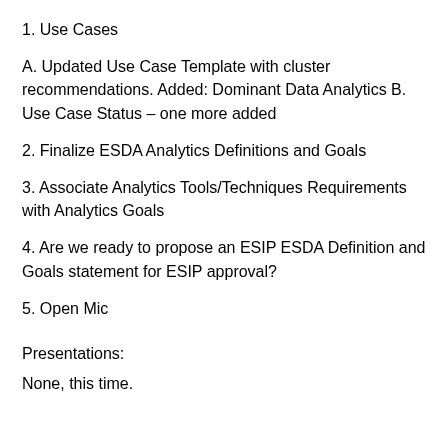1. Use Cases
A. Updated Use Case Template with cluster recommendations. Added: Dominant Data Analytics B. Use Case Status – one more added
2. Finalize ESDA Analytics Definitions and Goals
3. Associate Analytics Tools/Techniques Requirements with Analytics Goals
4. Are we ready to propose an ESIP ESDA Definition and Goals statement for ESIP approval?
5. Open Mic
Presentations:
None, this time.